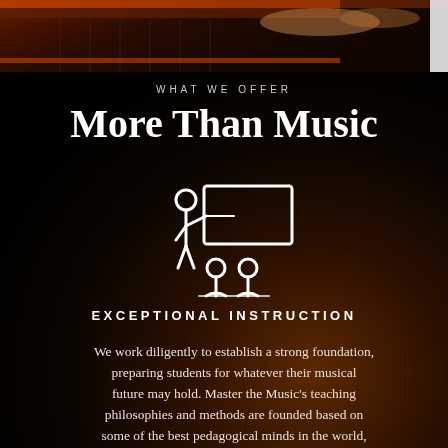[Figure (photo): Top portion of a photo showing hands on a piano keyboard with warm reddish-brown tones]
WHAT WE OFFER
More Than Music
[Figure (illustration): White line icon of a teacher pointing at a board/screen with two students seated in front]
EXCEPTIONAL INSTRUCTION
We work diligently to establish a strong foundation, preparing students for whatever their musical future may hold. Master the Music's teaching philosophies and methods are founded based on some of the best pedagogical minds in the world, coupled with over 30 years of experience by founder Dr. Michael Schneider.